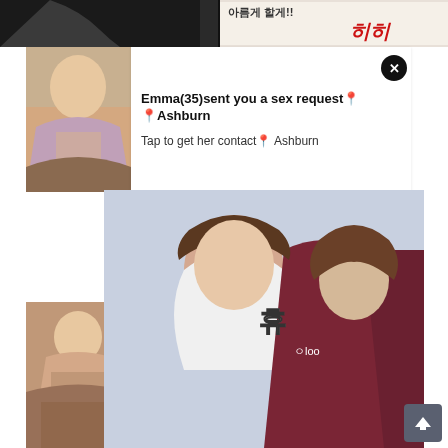[Figure (illustration): Korean manga strip at top of page with Korean text]
[Figure (photo): Thumbnail photo on left side of first notification card]
Emma(35)sent you a sex request📍Ashburn
Tap to get her contact📍 Ashburn
[Figure (illustration): Korean manga strip in middle section]
[Figure (photo): Thumbnail photo on left side of second notification card]
Emma(35)sent you a sex request📍Ashburn
Tap to get her contact📍 Ashburn
[Figure (illustration): Korean manga illustration showing two characters close together with Korean sound effect text]